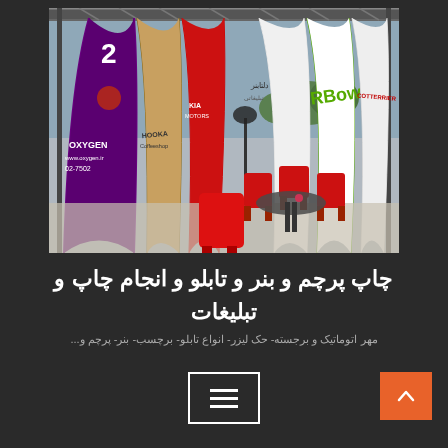[Figure (photo): Outdoor event display with multiple branded teardrop and feather banners including Oxygen, Hooka Coffeeshop, Kia Motors, and other brands. Red chairs and a table visible in the foreground under a metal truss structure.]
چاپ پرچم و بنر و تابلو و انجام چاپ و تبلیغات
مهر اتوماتیک و برجسته- حک لیزر- انواع تابلو- برچسب- بنر- پرچم و...
[Figure (other): Hamburger menu button icon (three horizontal lines) in a white bordered rectangle]
[Figure (other): Orange scroll-to-top button with upward chevron/caret icon]